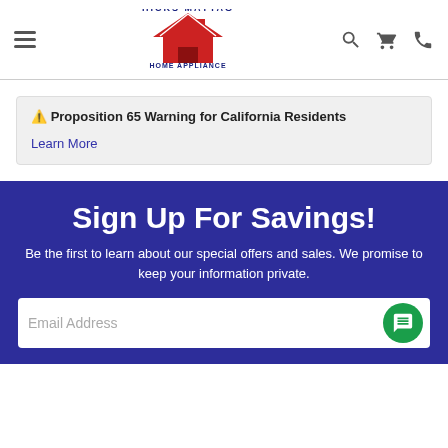[Figure (logo): Hicks Maytag Home Appliance Center logo with red house icon and blue text]
⚠️ Proposition 65 Warning for California Residents
Learn More
Sign Up For Savings!
Be the first to learn about our special offers and sales. We promise to keep your information private.
Email Address